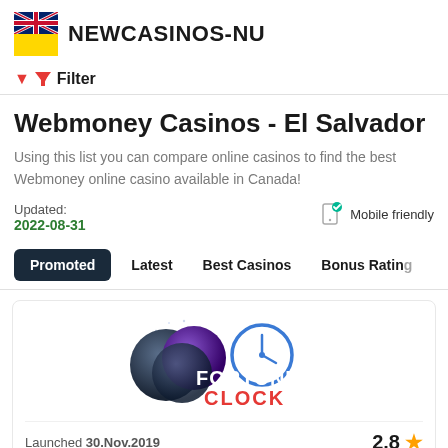NEWCASINOS-NU
Filter
Webmoney Casinos - El Salvador
Using this list you can compare online casinos to find the best Webmoney online casino available in Canada!
Updated: 2022-08-31   Mobile friendly
Promoted
Latest
Best Casinos
Bonus Rating
[Figure (logo): Fortune Clock casino logo with glowing purple and blue spheres and clock graphic]
Launched 30.Nov.2019   2.8 ★